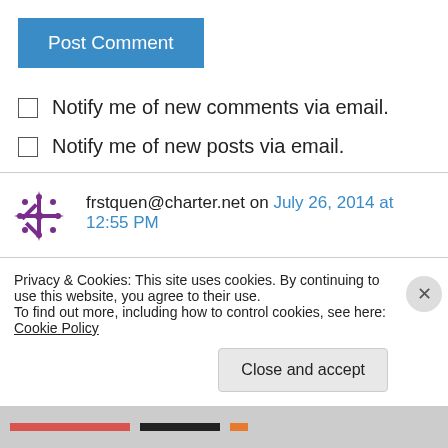Post Comment
Notify me of new comments via email.
Notify me of new posts via email.
frstquen@charter.net on July 26, 2014 at 12:55 PM
Wow I can not believe it is getting close, I love that first picture of you and Andrew. I am thinking
Privacy & Cookies: This site uses cookies. By continuing to use this website, you agree to their use.
To find out more, including how to control cookies, see here: Cookie Policy
Close and accept